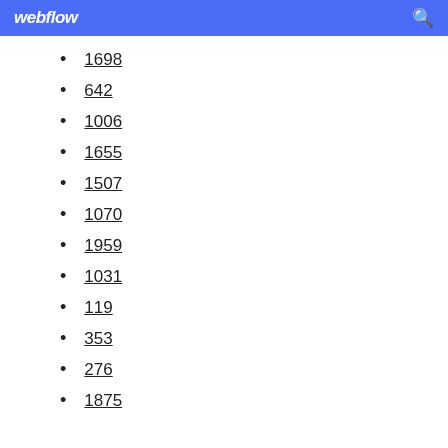webflow
1698
642
1006
1655
1507
1070
1959
1031
119
353
276
1875